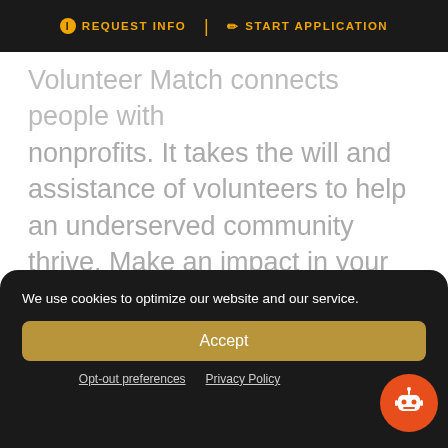ℹ REQUEST INFO | ✏ START APPLICATION
Volunteer Match connects people with nonprofits. It takes the will and assistance of volunteers to help an underserved community thrive. Make an impact in your community by finding the right organization to partner with through Volunteer Match. Find service opportunities in your area.
We use cookies to optimize our website and our service.
Accept
Opt-out preferences   Privacy Policy